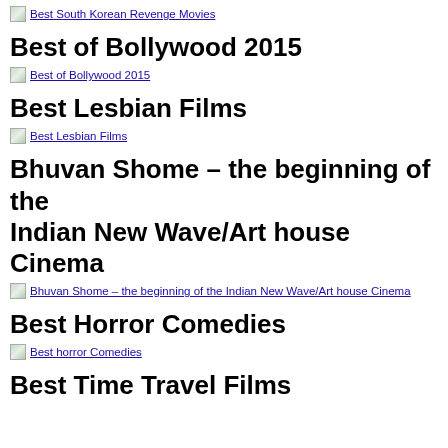[Figure (other): Thumbnail image link: Best South Korean Revenge Movies]
Best of Bollywood 2015
[Figure (other): Thumbnail image link: Best of Bollywood 2015]
Best Lesbian Films
[Figure (other): Thumbnail image link: Best Lesbian Films]
Bhuvan Shome – the beginning of the Indian New Wave/Art house Cinema
[Figure (other): Thumbnail image link: Bhuvan Shome – the beginning of the Indian New Wave/Art house Cinema]
Best Horror Comedies
[Figure (other): Thumbnail image link: Best horror Comedies]
Best Time Travel Films